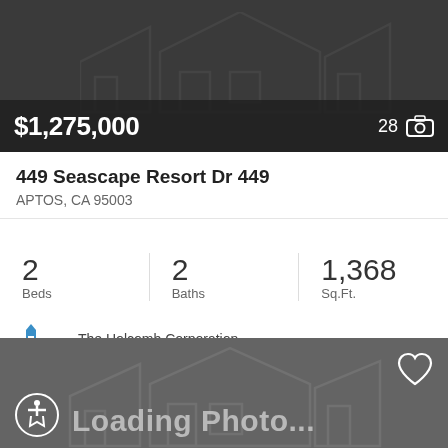[Figure (screenshot): Real estate listing card showing a property with dark overlay showing price $1,275,000 and photo count 28]
$1,275,000
28
449 Seascape Resort Dr 449
APTOS, CA 95003
2 Beds
2 Baths
1,368 Sq.Ft.
The Holcomb Corporation
[Figure (photo): Loading photo placeholder for second listing with dark gray background, house outline watermark, accessibility icon, heart icon, and Loading Photo... text]